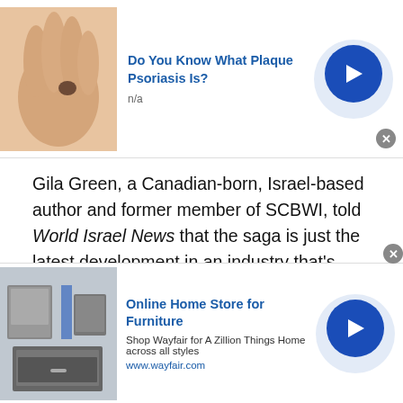[Figure (advertisement): Top ad banner: image of skin condition on hand, headline 'Do You Know What Plaque Psoriasis Is?', subtext 'n/a', blue circular arrow button, close X button]
Gila Green, a Canadian-born, Israel-based author and former member of SCBWI, told World Israel News that the saga is just the latest development in an industry that’s grown increasingly hostile towards Jews and stories about Israel.
“It’s a masking of anti-Semitism,” Green told WIN, that is often cloaked in the language of social justice ideology.
Stories that focus on the messy, human aspects of life in Israel and suggest that the Israeli-Palestinian conflict is a
[Figure (advertisement): Bottom ad banner: image of furniture/appliances, headline 'Online Home Store for Furniture', subtext 'Shop Wayfair for A Zillion Things Home across all styles', URL 'www.wayfair.com', blue circular arrow button, close X button]